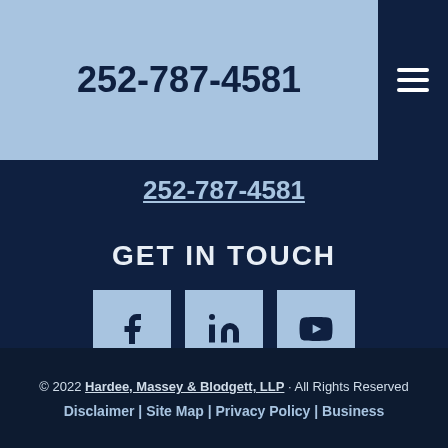252-787-4581
252-787-4581
GET IN TOUCH
[Figure (infographic): Three social media icon buttons: Facebook (f), LinkedIn (in), YouTube (play button), each in a light blue square on dark navy background]
REVIEW US
© 2022 Hardee, Massey & Blodgett, LLP · All Rights Reserved
Disclaimer | Site Map | Privacy Policy | Business